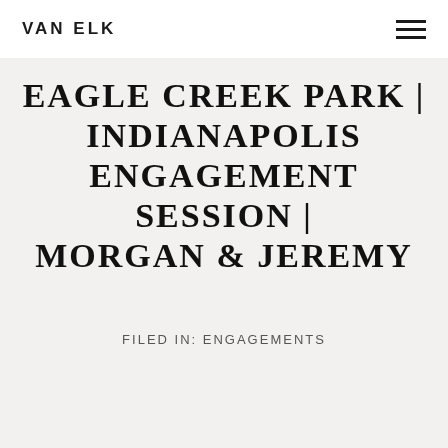VAN ELK
EAGLE CREEK PARK | INDIANAPOLIS ENGAGEMENT SESSION | MORGAN & JEREMY
FILED IN: ENGAGEMENTS